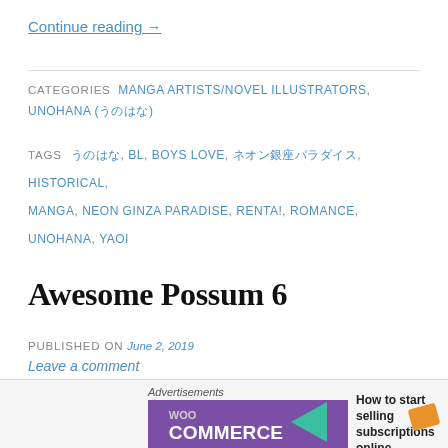Continue reading →
CATEGORIES: MANGA ARTISTS/NOVEL ILLUSTRATORS, UNOHANA (うのはな)
TAGS: うのはな, BL, BOYS LOVE, ネオン銀座パラダイス, HISTORICAL, MANGA, NEON GINZA PARADISE, RENTA!, ROMANCE, UNOHANA, YAOI
Awesome Possum 6
PUBLISHED ON June 2, 2019
Leave a comment
[Figure (screenshot): WooCommerce advertisement banner with purple and teal background, showing WooCommerce logo and text 'How to start selling subscriptions online']